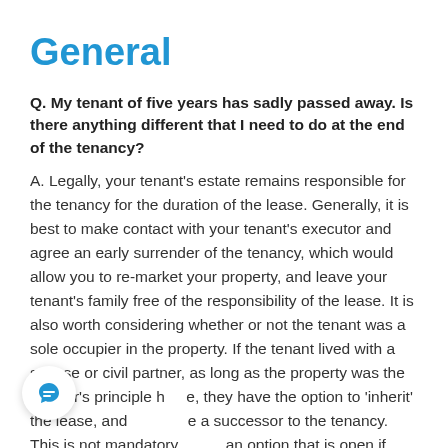General
Q. My tenant of five years has sadly passed away. Is there anything different that I need to do at the end of the tenancy?
A. Legally, your tenant's estate remains responsible for the tenancy for the duration of the lease. Generally, it is best to make contact with your tenant's executor and agree an early surrender of the tenancy, which would allow you to re-market your property, and leave your tenant's family free of the responsibility of the lease. It is also worth considering whether or not the tenant was a sole occupier in the property. If the tenant lived with a spouse or civil partner, as long as the property was the partner's principle home, they have the option to 'inherit' the lease, and become a successor to the tenancy. This is not mandatory, but an option that is open if they choose to take it.